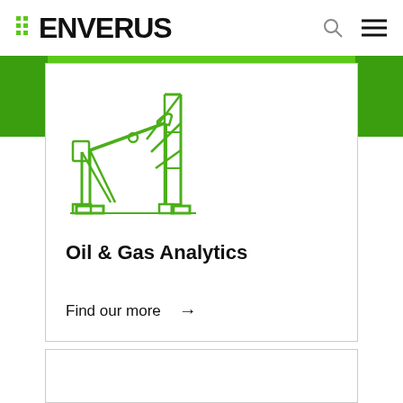ENVERUS
[Figure (illustration): Oil pump jack icon drawn in green outline style]
Oil & Gas Analytics
Find our more →